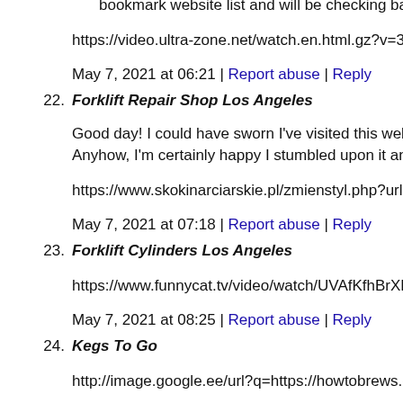bookmark website list and will be checking back soon. Please
https://video.ultra-zone.net/watch.en.html.gz?v=3C56ArglU_8
May 7, 2021 at 06:21 | Report abuse | Reply
22. Forklift Repair Shop Los Angeles
Good day! I could have sworn I've visited this website before Anyhow, I'm certainly happy I stumbled upon it and I'll be bo
https://www.skokinarciarskie.pl/zmienstyl.php?url=https://fork
May 7, 2021 at 07:18 | Report abuse | Reply
23. Forklift Cylinders Los Angeles
https://www.funnycat.tv/video/watch/UVAfKfhBrXE
May 7, 2021 at 08:25 | Report abuse | Reply
24. Kegs To Go
http://image.google.ee/url?q=https://howtobrews.com
May 7, 2021 at 08:25 | Report abuse | Reply
25. driving range near me
After checking out a number of the articles on your website, I s to my bookmark site list and will be checking back soon. Plea